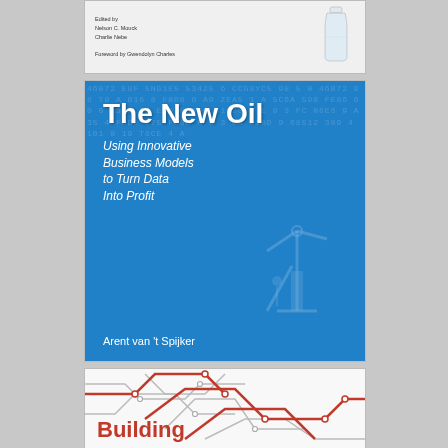[Figure (photo): Top portion of a book cover - partially visible. Shows small text with author names and a glass/bottle image on the right side. Background is light gray/white.]
[Figure (illustration): Book cover: 'The New Oil - Using Innovative Business Models to Turn Data Into Profit' by Arent van 't Spijker. Blue background with numbers/code overlay, oil pump jack silhouette.]
[Figure (illustration): Partial book cover showing 'Building' title text in red, with metro/transit map line graphics in red and gray on white background.]